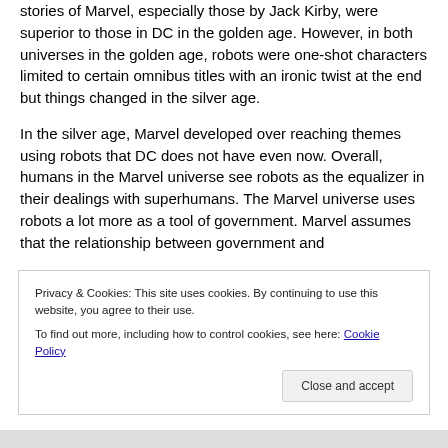stories of Marvel, especially those by Jack Kirby, were superior to those in DC in the golden age.  However, in both universes in the golden age, robots were one-shot characters limited to certain omnibus titles with an ironic twist at the end but things changed in the silver age.
In the silver age, Marvel developed over reaching themes using robots that DC does not have even now.  Overall, humans in the Marvel universe see robots as the equalizer in their dealings with superhumans.  The Marvel universe uses robots a lot more as a tool of government.  Marvel assumes that the relationship between government and
Privacy & Cookies: This site uses cookies. By continuing to use this website, you agree to their use.
To find out more, including how to control cookies, see here: Cookie Policy